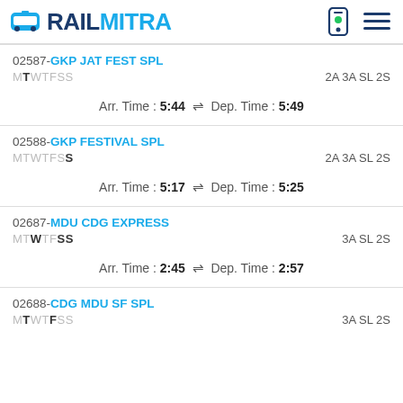RAILMITRA
02587-GKP JAT FEST SPL | MTWTFSS | 2A 3A SL 2S | Arr. Time: 5:44 Dep. Time: 5:49
02588-GKP FESTIVAL SPL | MTWTFSS | 2A 3A SL 2S | Arr. Time: 5:17 Dep. Time: 5:25
02687-MDU CDG EXPRESS | MTWTFSS | 3A SL 2S | Arr. Time: 2:45 Dep. Time: 2:57
02688-CDG MDU SF SPL | MTWTFSS | 3A SL 2S